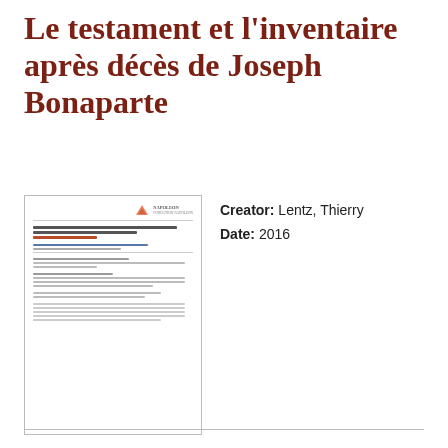Le testament et l'inventaire après décès de Joseph Bonaparte
[Figure (screenshot): Thumbnail preview of a document page showing a header with a logo, title text in dark and red colors, body text in small font with multiple sections and paragraphs.]
Creator: Lentz, Thierry
Date: 2016